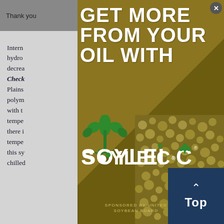Thank you  ...tools you
Intern... c, hydro... decrea... Fresh-Check... Plains... state polym... es with t... tempe... ugh there i... tempe... this sy... chilled...
[Figure (advertisement): Gold-panel advertisement overlay. Headline: GET MORE FROM YOUR OIL WITH. Soyleic brand logo with plant icon and wordmark. Sponsored by United Soybean Board. Bottom-right shows soybean texture photo. Close button top-right. Top navigation button bottom-right.]
GET MORE FROM YOUR OIL WITH
SPONSORED BY UNITED SOYBEAN BOARD